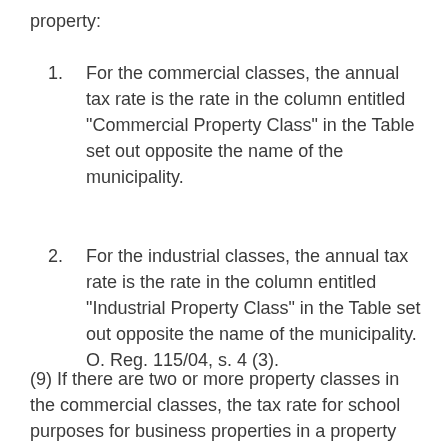property:
1. For the commercial classes, the annual tax rate is the rate in the column entitled “Commercial Property Class” in the Table set out opposite the name of the municipality.
2. For the industrial classes, the annual tax rate is the rate in the column entitled “Industrial Property Class” in the Table set out opposite the name of the municipality. O. Reg. 115/04, s. 4 (3).
(9) If there are two or more property classes in the commercial classes, the tax rate for school purposes for business properties in a property